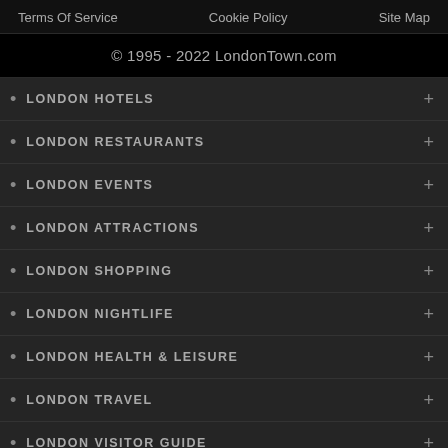Terms Of Service   Cookie Policy   Site Map
© 1995 - 2022 LondonTown.com
LONDON HOTELS
LONDON RESTAURANTS
LONDON EVENTS
LONDON ATTRACTIONS
LONDON SHOPPING
LONDON NIGHTLIFE
LONDON HEALTH & LEISURE
LONDON TRAVEL
LONDON VISITOR GUIDE